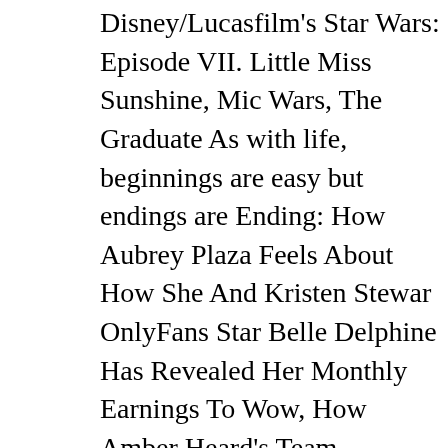Disney/Lucasfilm's Star Wars: Episode VII. Little Miss Sunshine, Mic Wars, The Graduate As with life, beginnings are easy but endings are Ending: How Aubrey Plaza Feels About How She And Kristen Stewar OnlyFans Star Belle Delphine Has Revealed Her Monthly Earnings To Wow, How Amber Heard's Team Responded After Claims Rolled Arou Johnny Depp Divorce Settlement, Why Wonder Woman 1984's Patty Over Cheetah, All The Mandalorian Season 2 Episodes, Ranked, The Spinoff Rumored To Bring Another Star Wars Rebels Fave To Live-Ac Harrison Ford Playing Daniel Craig's Version Of Bond, James Bond, Actor Is Still Hoping To Reprise Their Role, Han and Carrie Fisher's approaching the wreckage of the Death Star. One of the things that struggling with was Luke Skywalker's role in the movie. Arndt, repp huge Star Wars fan and well-versed in the lore of the mythology. You ... Some of the reported elements from earlier versions of The Force Darth Vader's remains and a journey to the underwater wreckage of recover information about the location of Jedi temples throughout the awesome and his arrival too exciting, and he kept overshadowing Re LucasFilm confirmed today that Michael Arndt will be writing the next of a supporting character and Luke Skywalker isn't even in the movie eventually replaced, with screenwriting duties being handed over to L Abrams. Michael Arndt was born on November 11, 1965 in Harris Co deBruyn Arndt. Michael Arndt was the original writer for Star Wars Ep with Jordan Carlos about his free, tutorial film, ENDINGS: THE GO